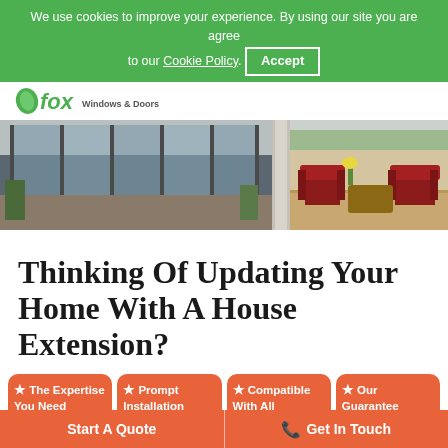We use cookies to improve your experience. By using our site you are agree to our Cookie Policy. Accept
[Figure (logo): Fox Windows & Doors logo with green fox icon and text]
[Figure (photo): Two photo collage: left showing grey sliding bi-fold doors opening to a garden, right showing a conservatory interior with red armchairs and wooden flooring]
Thinking Of Updating Your Home With A House Extension?
The Expertise You Need
Prompt Installation
Compatible With All
Our Guarantee
Start A Quote  |  Get In Touch